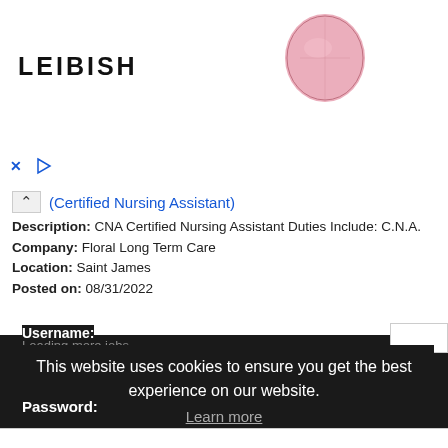[Figure (photo): LEIBISH jewelry advertisement banner with a pink gemstone, a heart-shaped necklace with yellow diamond, and a partial view of a green and gold piece]
^ (Certified Nursing Assistant)
Description: CNA Certified Nursing Assistant Duties Include: C.N.A.
Company: Floral Long Term Care
Location: Saint James
Posted on: 08/31/2022
Loading more jobs...
This website uses cookies to ensure you get the best experience on our website.
Learn more
Got it!
Username:
Password: